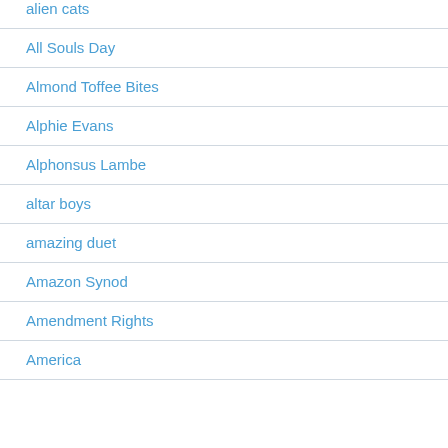alien cats
All Souls Day
Almond Toffee Bites
Alphie Evans
Alphonsus Lambe
altar boys
amazing duet
Amazon Synod
Amendment Rights
America